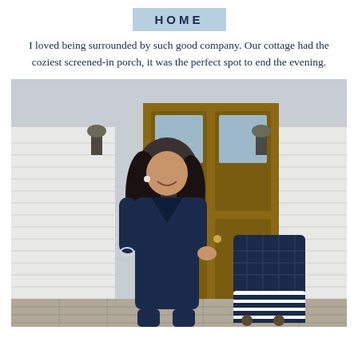HOME
I loved being surrounded by such good company. Our cottage had the coziest screened-in porch, it was the perfect spot to end the evening.
[Figure (photo): A smiling woman with long dark hair wearing a navy blue jumpsuit stands in front of a home with a large wooden door, holding a navy and white striped luggage bag on a cart.]